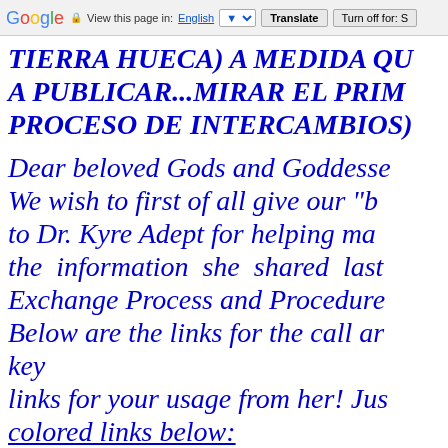Google | View this page in: English | Translate | Turn off for: S
TIERRA HUECA) A MEDIDA QU A PUBLICAR...MIRAR EL PRIM PROCESO DE INTERCAMBIOS)
Dear beloved Gods and Goddesse We wish to first of all give our "b to Dr. Kyre Adept for helping ma the information she shared last Exchange Process and Procedure Below are the links for the call ar key links for your usage from her! Jus colored links below: